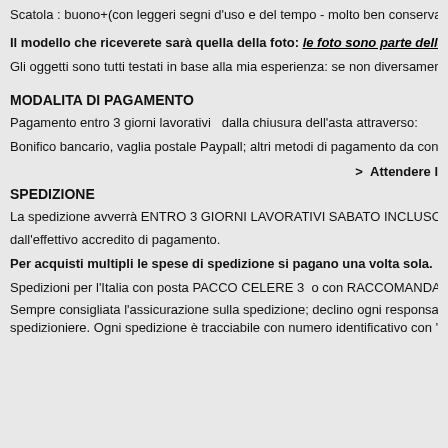Scatola : buono+(con leggeri segni d'uso e del tempo - molto ben conservata : vedi fo
Il modello che riceverete sarà quella della foto: le foto sono parte della descrizione
Gli oggetti sono tutti testati in base alla mia esperienza: se non diversamente dichiarato s
MODALITA DI PAGAMENTO
Pagamento entro 3 giorni lavorativi  dalla chiusura dell'asta attraverso:
Bonifico bancario, vaglia postale Paypall; altri metodi di pagamento da concordare.
>  Attendere l
SPEDIZIONE
La spedizione avverrà ENTRO 3 GIORNI LAVORATIVI SABATO INCLUSO
dall'effettivo accredito di pagamento.
Per acquisti multipli le spese di spedizione si pagano una volta sola.
Spedizioni per l'Italia con posta PACCO CELERE 3  o con RACCOMANDATATA entr
Sempre consigliata l'assicurazione sulla spedizione; declino ogni responsabilità per even spedizioniere. Ogni spedizione è tracciabile con numero identificativo con "Poste Italian